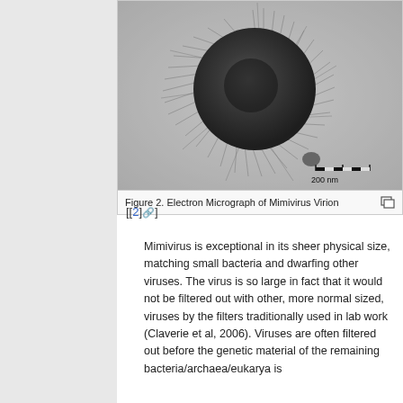[Figure (photo): Electron micrograph of Mimivirus virion showing a large spherical dark particle surrounded by radiating filaments/fibers, with a scale bar of 200 nm in the lower right.]
Figure 2. Electron Micrograph of Mimivirus Virion
[[2] ↗]
Mimivirus is exceptional in its sheer physical size, matching small bacteria and dwarfing other viruses. The virus is so large in fact that it would not be filtered out with other, more normal sized, viruses by the filters traditionally used in lab work (Claverie et al, 2006). Viruses are often filtered out before the genetic material of the remaining bacteria/archaea/eukarya is